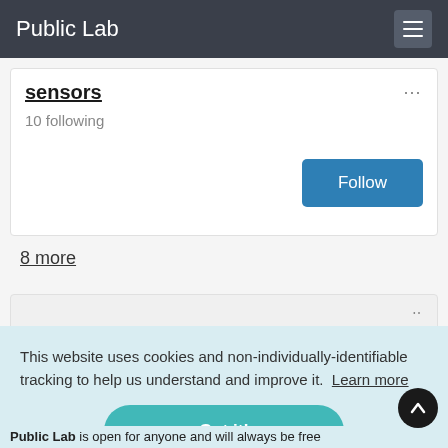Public Lab
sensors
10 following
Follow
8 more
This website uses cookies and non-individually-identifiable tracking to help us understand and improve it. Learn more
Got it!
Public Lab is open for anyone and will always be free